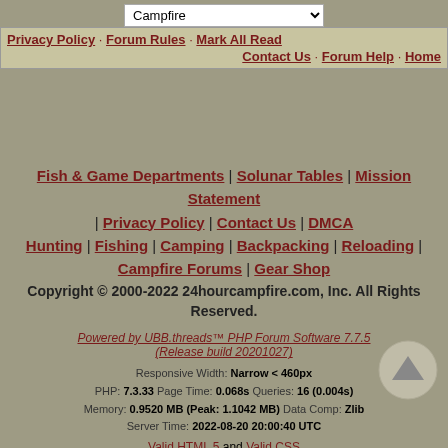Campfire [dropdown]
Privacy Policy · Forum Rules · Mark All Read | Contact Us · Forum Help · Home
Fish & Game Departments | Solunar Tables | Mission Statement | Privacy Policy | Contact Us | DMCA
Hunting | Fishing | Camping | Backpacking | Reloading | Campfire Forums | Gear Shop
Copyright © 2000-2022 24hourcampfire.com, Inc. All Rights Reserved.
Powered by UBB.threads™ PHP Forum Software 7.7.5 (Release build 20201027)
Responsive Width: Narrow < 460px
PHP: 7.3.33 Page Time: 0.068s Queries: 16 (0.004s)
Memory: 0.9520 MB (Peak: 1.1042 MB) Data Comp: Zlib
Server Time: 2022-08-20 20:00:40 UTC
Valid HTML 5 and Valid CSS